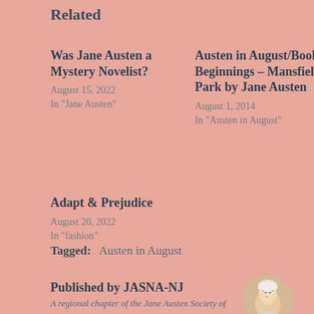Related
Was Jane Austen a Mystery Novelist?
August 15, 2022
In "Jane Austen"
Austen in August/Book Beginnings – Mansfield Park by Jane Austen
August 1, 2014
In "Austen in August"
Adapt & Prejudice
August 20, 2022
In "fashion"
Tagged:   Austen in August
Published by JASNA-NJ
A regional chapter of the Jane Austen Society of
[Figure (photo): Portrait illustration of Jane Austen in a bonnet, circular crop]